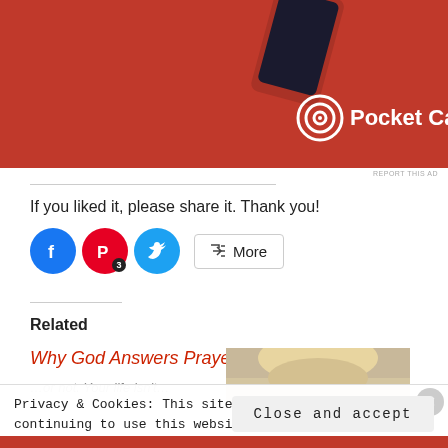[Figure (screenshot): Pocket Casts advertisement banner with red background showing a red smartphone and Pocket Casts logo]
REPORT THIS AD
If you liked it, please share it. Thank you!
[Figure (infographic): Social sharing buttons: Facebook (blue circle), Pinterest (red circle with badge '3'), Twitter (cyan circle), and a 'More' button]
Related
Why God Answers Prayer
[Figure (photo): Partial photo of a person with blonde hair]
Privacy & Cookies: This site uses cookies. By continuing to use this website, you agree to their use.
To find out more, including how to control cookies, see here: Cookie Policy
Close and accept